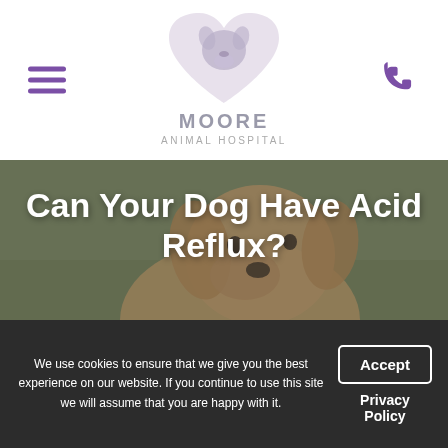[Figure (logo): Moore Animal Hospital logo — heart shape with dog silhouette, text MOORE ANIMAL HOSPITAL in grey/purple]
[Figure (photo): Golden retriever dog outdoors on green background, blurred/overlaid with dark tint. Title 'Can Your Dog Have Acid Reflux?' overlaid in white bold text.]
Can Your Dog Have Acid Reflux?
Search the blog
We use cookies to ensure that we give you the best experience on our website. If you continue to use this site we will assume that you are happy with it.
Accept
Privacy Policy